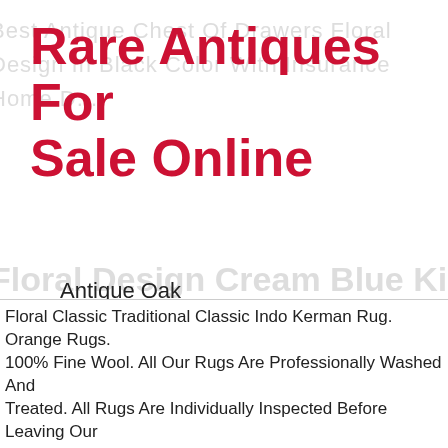Rare Antiques For Sale Online
Antique Oak
Antique Mahogany
Antique Carpet
Antique Painting
Antique Glass
Antique Plate
Floral Classic Traditional Classic Indo Kerman Rug. Orange Rugs. 100% Fine Wool. All Our Rugs Are Professionally Washed And Treated. All Rugs Are Individually Inspected Before Leaving Our